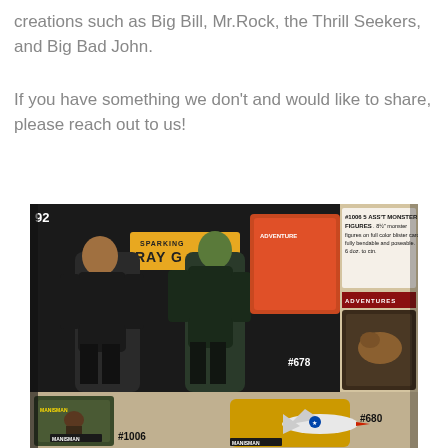creations such as Big Bill, Mr.Rock, the Thrill Seekers, and Big Bad John.
If you have something we don't and would like to share, please reach out to us!
[Figure (photo): Vintage toy catalog page showing monster figures and boxed toy products. Items labeled #678, #1006, #680, and #1006 5 ASS'T MONSTER FIGURES. Shows bendable monster figures, toy boxes with adventure themes, and a toy airplane. Page number 92 visible. Text reads: '#1006 5 ASS'T MONSTER FIGURES . . . 8½" monster figures on full color blister cards; fully bendable and poseable. 6 doz. to ctn.']